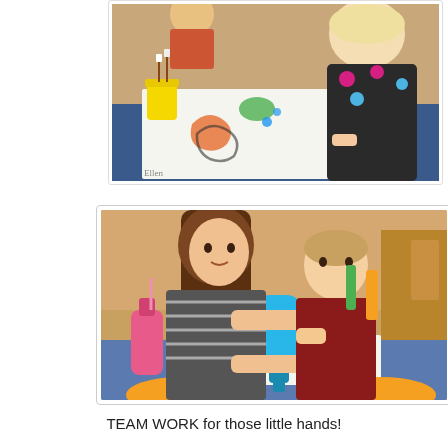[Figure (photo): Child painting on white paper at a table with a yellow cup of brushes and colorful paint marks; another child in background]
[Figure (photo): Two children working together at a table, one girl in striped shirt and one younger boy, squeezing a blue glue bottle onto white paper; pink bottle also visible]
TEAM WORK for those little hands!